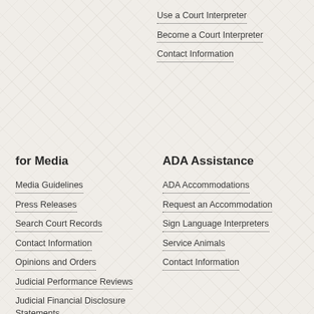Use a Court Interpreter
Become a Court Interpreter
Contact Information
for Media
Media Guidelines
Press Releases
Search Court Records
Contact Information
Opinions and Orders
Judicial Performance Reviews
Judicial Financial Disclosure Statements
Facilities Use Application
ADA Assistance
ADA Accommodations
Request an Accommodation
Sign Language Interpreters
Service Animals
Contact Information